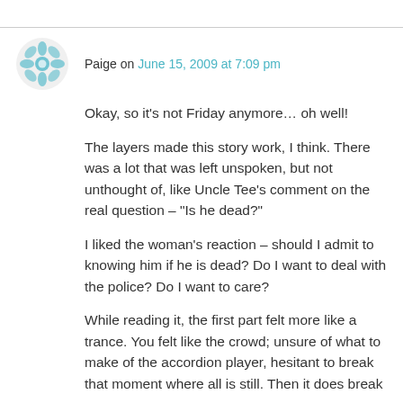Paige on June 15, 2009 at 7:09 pm
Okay, so it's not Friday anymore… oh well!
The layers made this story work, I think. There was a lot that was left unspoken, but not unthought of, like Uncle Tee's comment on the real question – "Is he dead?"
I liked the woman's reaction – should I admit to knowing him if he is dead? Do I want to deal with the police? Do I want to care?
While reading it, the first part felt more like a trance. You felt like the crowd; unsure of what to make of the accordion player, hesitant to break that moment where all is still. Then it does break